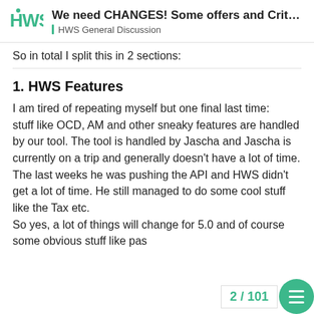We need CHANGES! Some offers and Crit... | HWS General Discussion
So in total I split this in 2 sections:
1. HWS Features
I am tired of repeating myself but one final last time:
stuff like OCD, AM and other sneaky features are handled by our tool. The tool is handled by Jascha and Jascha is currently on a trip and generally doesn't have a lot of time. The last weeks he was pushing the API and HWS didn't get a lot of time. He still managed to do some cool stuff like the Tax etc.
So yes, a lot of things will change for 5.0 and of course some obvious stuff like pas
2 / 101